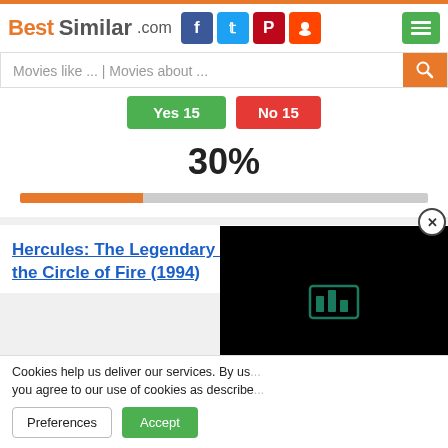BestSimilar.com
Movies like ... | Movies about ...
Yes 15  No 15
30%
Hercules: The Legendary Journeys - Hercules and the Circle of Fire (1994)
Cookies help us deliver our services. By using our services, you agree to our use of cookies as described
Preferences  Accept